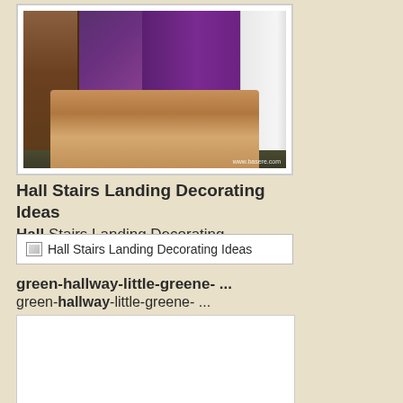[Figure (photo): Interior room photo showing a bedroom/hallway with a purple accent wall, white wardrobe door, brown shelving unit on the left, and a striped brown blanket/bed. Watermark reads 'www.basere.com' in the bottom right corner.]
Hall Stairs Landing Decorating Ideas Hall Stairs Landing Decorating
[Figure (photo): Broken image placeholder box with alt text 'Hall Stairs Landing Decorating Ideas']
green-hallway-little-greene- ... green-hallway-little-greene- ...
[Figure (photo): White empty image box below the green hallway text]